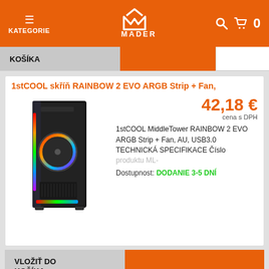KATEGORIE | MADER | 0
KOŠÍKA
1stCOOL skříň RAINBOW 2 EVO ARGB Strip + Fan,
[Figure (photo): PC tower case - 1stCOOL RAINBOW 2 EVO ARGB, black with RGB lighting and tempered glass side panel]
42,18 €
cena s DPH
1stCOOL MiddleTower RAINBOW 2 EVO ARGB Strip + Fan, AU, USB3.0 TECHNICKÁ SPECIFIKACE Číslo produktu ML-
Dostupnost: DODANIE 3-5 DNÍ
VLOŽIŤ DO KOŠÍKA